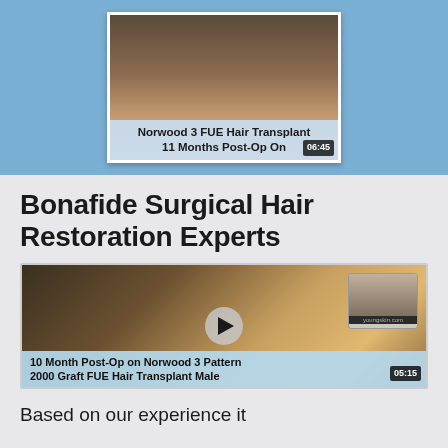[Figure (screenshot): Video thumbnail showing a hair transplant patient with caption 'Norwood 3 FUE Hair Transplant 11 Months Post-Op On' and duration badge 06:45]
Bonafide Surgical Hair Restoration Experts
[Figure (screenshot): Video thumbnail showing a man's face and a before/after inset of hair loss pattern, with caption '10 Month Post-Op on Norwood 3 Pattern 2000 Graft FUE Hair Transplant Male' and duration 05:15]
Based on our experience it